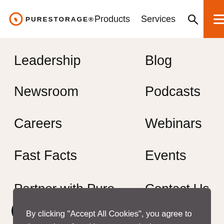Pure Storage — Products | Services | Search | Menu
Leadership
Newsroom
Careers
Fast Facts
Blog
Podcasts
Webinars
Events
By clicking "Accept All Cookies", you agree to the storing of cookies on your device to enhance site navigation, analyze site usage, and assist in our marketing efforts.
Reject All
Accept All Cookies
Cookies Settings